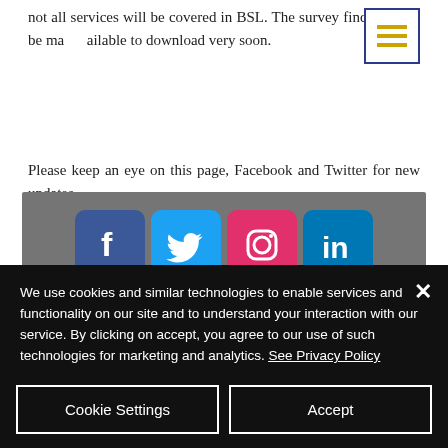not all services will be covered in BSL. The survey findings will be made available to download very soon.
Please keep an eye on this page, Facebook and Twitter for new updates.
[Figure (logo): Deaf Cultural Outreach Group CIC social media banner with Facebook, Twitter, Instagram, LinkedIn icons and organization name]
We use cookies and similar technologies to enable services and functionality on our site and to understand your interaction with our service. By clicking on accept, you agree to our use of such technologies for marketing and analytics. See Privacy Policy